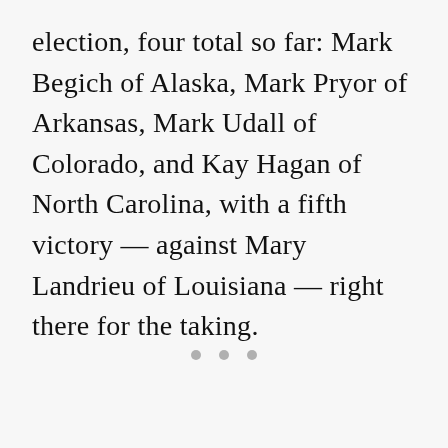election, four total so far: Mark Begich of Alaska, Mark Pryor of Arkansas, Mark Udall of Colorado, and Kay Hagan of North Carolina, with a fifth victory — against Mary Landrieu of Louisiana — right there for the taking.
• • •